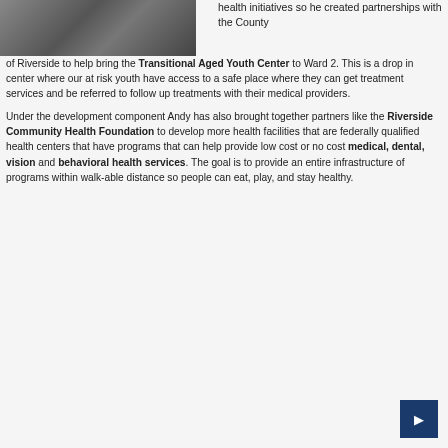[Figure (photo): Two people standing together outdoors, one wearing a white shirt with a green ribbon/bow]
health initiatives so he created partnerships with the County of Riverside to help bring the Transitional Aged Youth Center to Ward 2. This is a drop in center where our at risk youth have access to a safe place where they can get treatment services and be referred to follow up treatments with their medical providers.
Under the development component Andy has also brought together partners like the Riverside Community Health Foundation to develop more health facilities that are federally qualified health centers that have programs that can help provide low cost or no cost medical, dental, vision and behavioral health services. The goal is to provide an entire infrastructure of programs within walk-able distance so people can eat, play, and stay healthy.